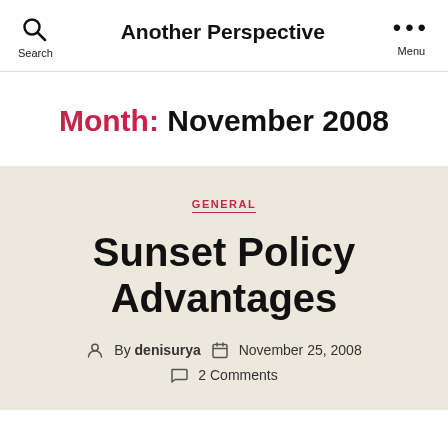Another Perspective
Month: November 2008
GENERAL
Sunset Policy Advantages
By denisurya  November 25, 2008  2 Comments